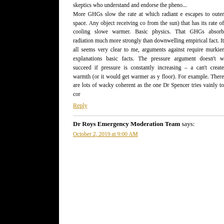skeptics who understand and endorse the pheno... More GHGs slow the rate at which radiant e escapes to outer space. Any object receiving co from the sun) that has its rate of cooling slowe warmer. Basic physics. That GHGs absorb radiation much more strongly than downwelling empirical fact. It all seems very clear to me, arguments against require murkier explanations basic facts. The pressure argument doesn't w succeed if pressure is constantly increasing – a can't create warmth (or it would get warmer as y floor). For example. There are lots of wacky coherent as the one Dr Spencer tries vainly to cor
Reply
Dr Roys Emergency Moderation Team says:
October 2, 2019 at 9:00 AM